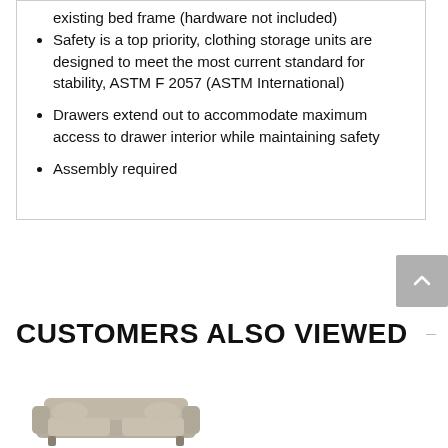existing bed frame (hardware not included)
Safety is a top priority, clothing storage units are designed to meet the most current standard for stability, ASTM F 2057 (ASTM International)
Drawers extend out to accommodate maximum access to drawer interior while maintaining safety
Assembly required
CUSTOMERS ALSO VIEWED
[Figure (photo): Partial view of a grey sofa/couch at the bottom of the page]